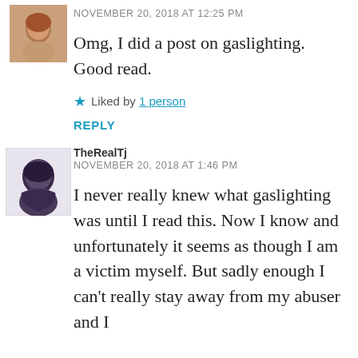[Figure (photo): Small avatar photo of a person with reddish-brown hair, cropped at top of page]
NOVEMBER 20, 2018 AT 12:25 PM
Omg, I did a post on gaslighting. Good read.
★ Liked by 1 person
REPLY
[Figure (photo): Small avatar photo of TheRealTj, a person with dark hair]
TheRealTj
NOVEMBER 20, 2018 AT 1:46 PM
I never really knew what gaslighting was until I read this. Now I know and unfortunately it seems as though I am a victim myself. But sadly enough I can't really stay away from my abuser and I